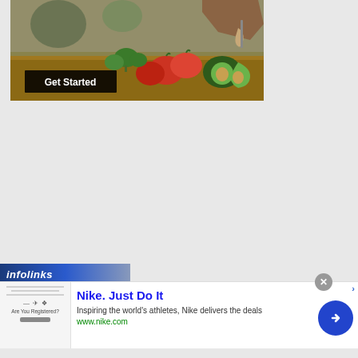[Figure (photo): A person cooking in a kitchen with fresh vegetables including tomatoes, avocado, and greens on a cutting board. A 'Get Started' button overlay appears in the lower left of the image.]
[Figure (screenshot): An advertisement banner at the bottom of the page. Contains an 'infolinks' branding bar, a close button (X), a thumbnail image showing a registration form, and Nike advertisement text with title 'Nike. Just Do It', tagline 'Inspiring the world's athletes, Nike delivers the deals', URL 'www.nike.com', and a blue circular arrow button.]